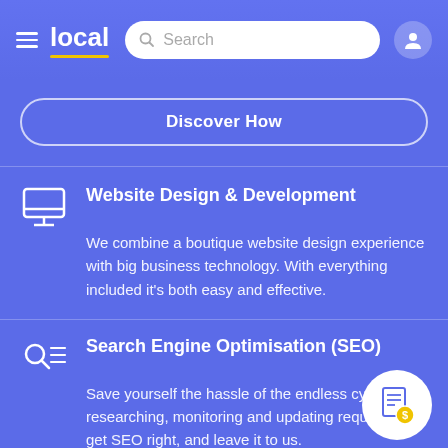local | Search
Discover How
Website Design & Development
We combine a boutique website design experience with big business technology. With everything included it’s both easy and effective.
Search Engine Optimisation (SEO)
Save yourself the hassle of the endless cycle of researching, monitoring and updating required to get SEO right, and leave it to us.